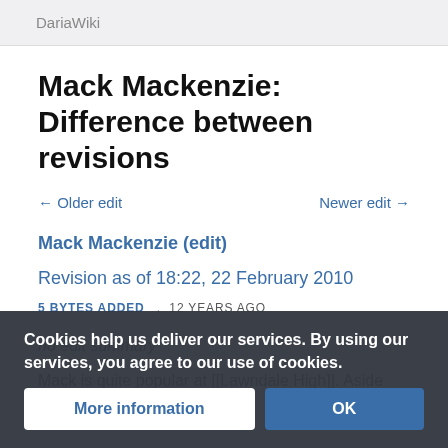DariaWiki
Mack Mackenzie: Difference between revisions
← Older edit
Newer edit →
Mack Mackenzie (edit)
Revision as of 18:22, 22 February 2010
5 BYTES ADDED   ,   12 YEARS AGO
no edit summary
Mack is quite popular at [[Lawndale High]]. Aside from being the footb… elected
Cookies help us deliver our services. By using our services, you agree to our use of cookies.